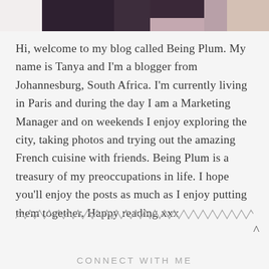[Figure (photo): Cropped photo of a person, showing dark clothing and partial background]
Hi, welcome to my blog called Being Plum. My name is Tanya and I'm a blogger from Johannesburg, South Africa. I'm currently living in Paris and during the day I am a Marketing Manager and on weekends I enjoy exploring the city, taking photos and trying out the amazing French cuisine with friends. Being Plum is a treasury of my preoccupations in life. I hope you'll enjoy the posts as much as I enjoy putting them together. Happy reading xxx
[Figure (illustration): Zigzag/wavy decorative divider line]
CONNECT WITH ME